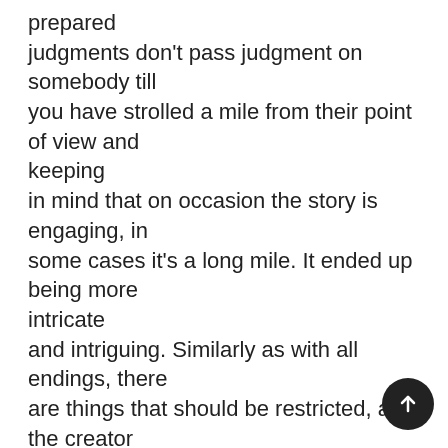prepared judgments don't pass judgment on somebody till you have strolled a mile from their point of view and keeping in mind that on occasion the story is engaging, in some cases it's a long mile. It ended up being more intricate and intriguing. Similarly as with all endings, there are things that should be restricted, and the creator did this pleasantly. It was all around paced, and the peruser finally accepts reality for what it is. It goes down like a super cold indulgence on a hot ocean side understanding day. In the end, Dereks Girl by Jan